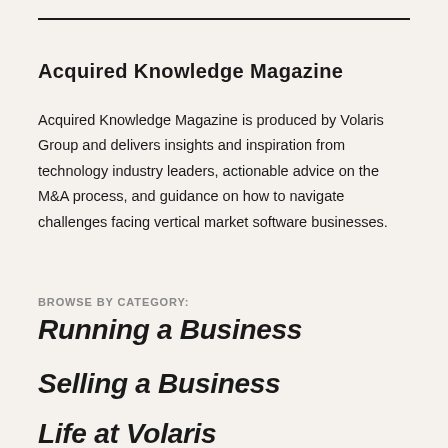Acquired Knowledge Magazine
Acquired Knowledge Magazine is produced by Volaris Group and delivers insights and inspiration from technology industry leaders, actionable advice on the M&A process, and guidance on how to navigate challenges facing vertical market software businesses.
BROWSE BY CATEGORY:
Running a Business
Selling a Business
Life at Volaris